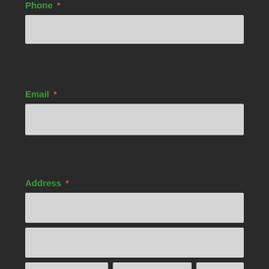Phone *
[Figure (other): Empty phone input field (light gray rectangle)]
Email *
[Figure (other): Empty email input field (light gray rectangle)]
Address *
[Figure (other): Empty address line 1 input field (light gray rectangle)]
[Figure (other): Empty address line 2 input field (light gray rectangle)]
[Figure (other): Three address sub-fields: City (light gray), State/Province dropdown (light gray with chevron), Zip/Postal (light gray)]
City    State/Province    Zip/Postal